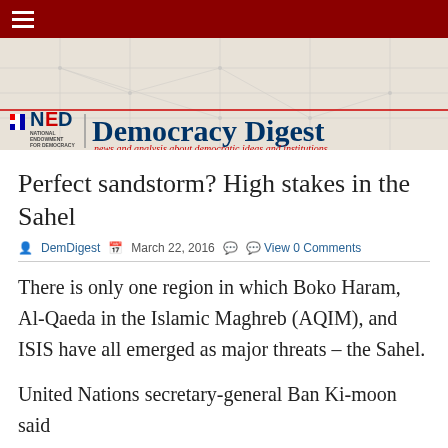NED Democracy Digest — news and analysis about democratic ideas and institutions
Perfect sandstorm? High stakes in the Sahel
DemDigest  March 22, 2016  View 0 Comments
There is only one region in which Boko Haram, Al-Qaeda in the Islamic Maghreb (AQIM), and ISIS have all emerged as major threats – the Sahel.
United Nations secretary-general Ban Ki-moon said